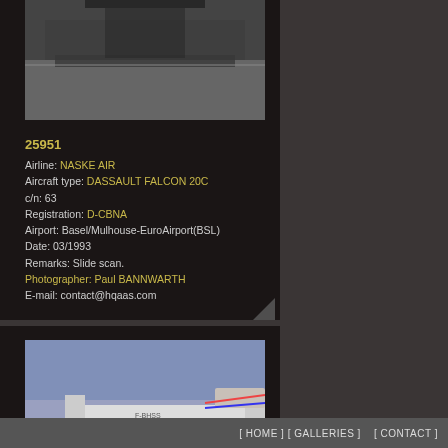[Figure (photo): Black and white photo of aircraft on tarmac, showing underside/landing gear area]
25951
Airline: NASKE AIR
Aircraft type: DASSAULT FALCON 20C
c/n: 63
Registration: D-CBNA
Airport: Basel/Mulhouse-EuroAirport(BSL)
Date: 03/1993
Remarks: Slide scan.
Photographer: Paul BANNWARTH
E-mail: contact@hqaas.com
[Figure (photo): Photo of a Falcon jet aircraft in flight against blue-grey sky, showing tail section with registration F-BHSS]
[ HOME ] [ GALLERIES ]    [ CONTACT ]